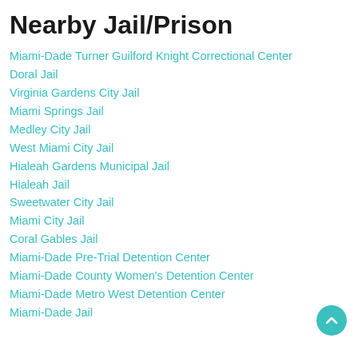Nearby Jail/Prison
Miami-Dade Turner Guilford Knight Correctional Center
Doral Jail
Virginia Gardens City Jail
Miami Springs Jail
Medley City Jail
West Miami City Jail
Hialeah Gardens Municipal Jail
Hialeah Jail
Sweetwater City Jail
Miami City Jail
Coral Gables Jail
Miami-Dade Pre-Trial Detention Center
Miami-Dade County Women's Detention Center
Miami-Dade Metro West Detention Center
Miami-Dade Jail